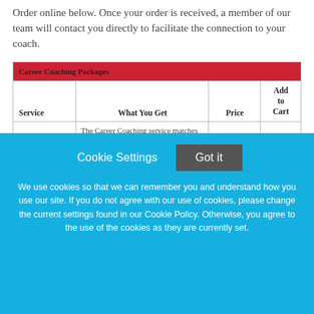Order online below. Once your order is received, a member of our team will contact you directly to facilitate the connection to your coach.
| Service | What You Get | Price | Add to Cart |
| --- | --- | --- | --- |
|  | The Career Coaching service matches individuals with a personal coach--a confidant, champion, and |  |  |
Cookie Settings
Got it
We use cookies so that we can remember you and understand how you use our site. If you do not agree with our use of cookies, please change the current settings found in our Cookie Policy. Otherwise, you agree to the use of the cookies as they are currently set.